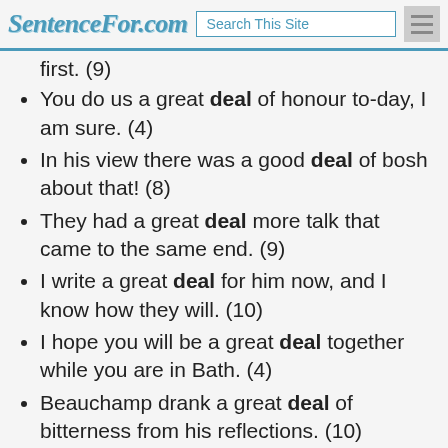SentenceFor.com | Search This Site
first. (9)
You do us a great deal of honour to-day, I am sure. (4)
In his view there was a good deal of bosh about that! (8)
They had a great deal more talk that came to the same end. (9)
I write a great deal for him now, and I know how they will. (10)
I hope you will be a great deal together while you are in Bath. (4)
Beauchamp drank a great deal of bitterness from his reflections. (10)
There was a great deal of laughter in the